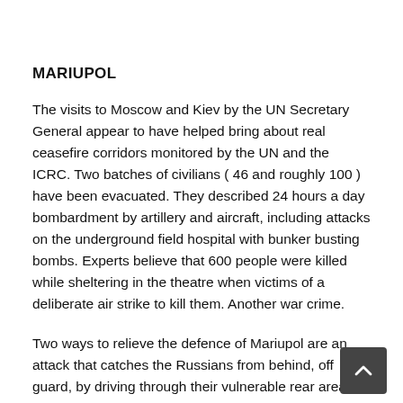MARIUPOL
The visits to Moscow and Kiev by the UN Secretary General appear to have helped bring about real ceasefire corridors monitored by the UN and the ICRC. Two batches of civilians ( 46 and roughly 100 ) have been evacuated. They described 24 hours a day bombardment by artillery and aircraft, including attacks on the underground field hospital with bunker busting bombs. Experts believe that 600 people were killed while sheltering in the theatre when victims of a deliberate air strike to kill them. Another war crime.
Two ways to relieve the defence of Mariupol are an attack that catches the Russians from behind, off guard, by driving through their vulnerable rear areas – alternatively, come in from the sea because the steel works is beside the beach. To pull off the latter requi…